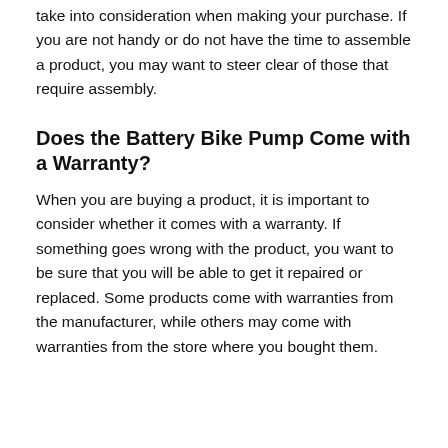take into consideration when making your purchase. If you are not handy or do not have the time to assemble a product, you may want to steer clear of those that require assembly.
Does the Battery Bike Pump Come with a Warranty?
When you are buying a product, it is important to consider whether it comes with a warranty. If something goes wrong with the product, you want to be sure that you will be able to get it repaired or replaced. Some products come with warranties from the manufacturer, while others may come with warranties from the store where you bought them.